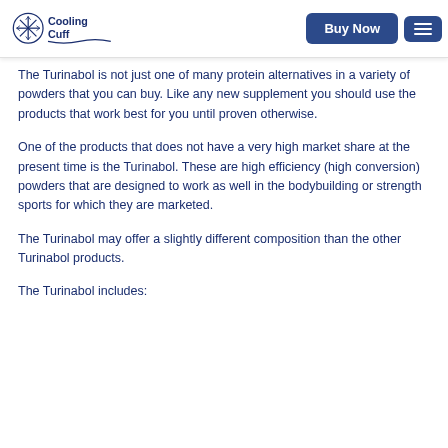[Figure (logo): Cooling Cuff logo with snowflake icon and brand name]
The Turinabol is not just one of many protein alternatives in a variety of powders that you can buy. Like any new supplement you should use the products that work best for you until proven otherwise.
One of the products that does not have a very high market share at the present time is the Turinabol. These are high efficiency (high conversion) powders that are designed to work as well in the bodybuilding or strength sports for which they are marketed.
The Turinabol may offer a slightly different composition than the other Turinabol products.
The Turinabol includes: